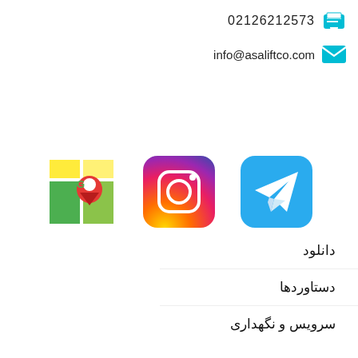02126212573
info@asaliftco.com
[Figure (illustration): Three social media icons: Telegram (blue rounded square with paper plane), Instagram (gradient rounded square with camera icon), Google Maps (green/yellow map with red pin)]
دانلود
دستاوردها
سرویس و نگهداری